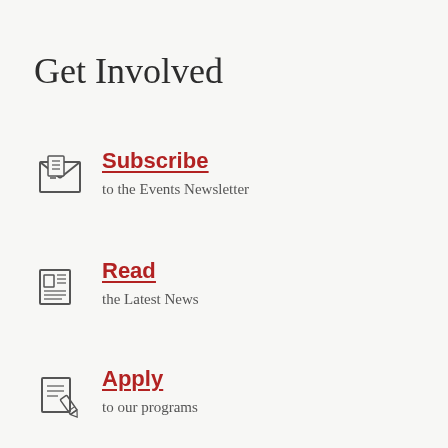Get Involved
Subscribe
to the Events Newsletter
Read
the Latest News
Apply
to our programs